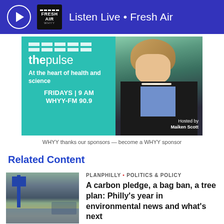Listen Live • Fresh Air
[Figure (illustration): The Pulse radio show advertisement: teal background with grid logo, text 'the pulse', 'At the heart of health and science', 'FRIDAYS | 9 AM', 'WHYY-FM 90.9', 'Hosted by Maiken Scott' with photo of host]
WHYY thanks our sponsors — become a WHYY sponsor
Related Content
[Figure (photo): Flooded street scene with cars and a blue sign post]
PLANPHILLY • POLITICS & POLICY
A carbon pledge, a bag ban, a tree plan: Philly's year in environmental news and what's next
8 months ago